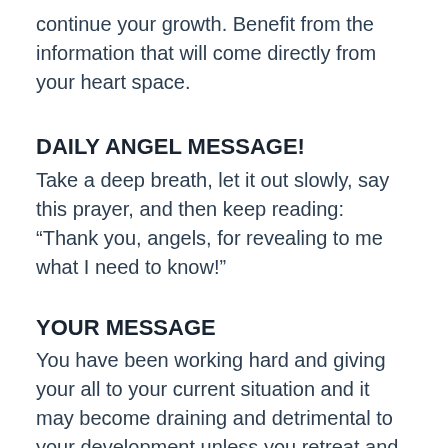continue your growth. Benefit from the information that will come directly from your heart space.
DAILY ANGEL MESSAGE!
Take a deep breath, let it out slowly, say this prayer, and then keep reading:
“Thank you, angels, for revealing to me what I need to know!”
YOUR MESSAGE
You have been working hard and giving your all to your current situation and it may become draining and detrimental to your development unless you retreat and recharge your energies. So you are being guided to take a step back at this time. If you are working on bringing